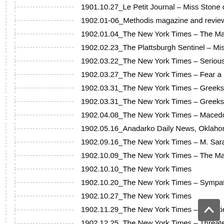1901.10.27_Le Petit Journal – Miss Stone chez les b
1902.01-06_Methodis magazine and review, Vol. LV
1902.01.04_The New York Times – The Macedonian
1902.02.23_The Plattsburgh Sentinel – Miss Stone
1902.03.22_The New York Times – Serious revolt i
1902.03.27_The New York Times – Fear a Macedon
1902.03.31_The New York Times – Greeks betray M
1902.03.31_The New York Times – Greeks betray M
1902.04.08_The New York Times – Macedonians W
1902.05.16_Anadarko Daily News, Oklahoma (Mis S
1902.09.16_The New York Times – M. Sarafof Arre
1902.10.09_The New York Times – The Macedonian
1902.10.10_The New York Times
1902.10.20_The New York Times – Sympathy with
1902.10.27_The New York Times
1902.11.29_The New York Times – Atrocities in Ma
1902.12.25_The New York Times – Threatens Mace
1903_Michael Davitt – 'Within the Pale', London
1903_New York- Philadelphia – The cry from Mace
1903.01.13_The New York Times – Macedonians wi
1903.01.30_Našinec
1903.01.31_The New York Times – Turks Defeat M